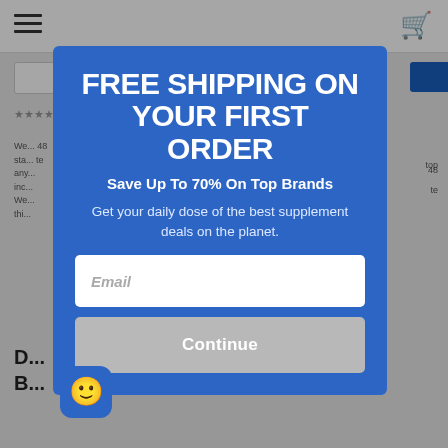FREE SHIPPING ON YOUR FIRST ORDER
Save Up To 70% On Top Brands
Get your daily dose of the best supplement deals on the planet.
Email
Continue